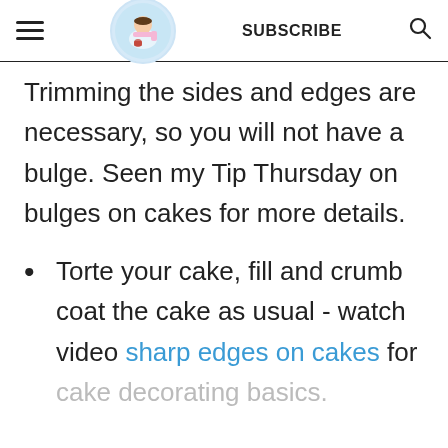≡  [Logo: From Arnish]  SUBSCRIBE  🔍
Trimming the sides and edges are necessary, so you will not have a bulge. Seen my Tip Thursday on bulges on cakes for more details.
Torte your cake, fill and crumb coat the cake as usual - watch video sharp edges on cakes for cake decorating basics.